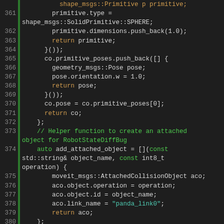[Figure (screenshot): Source code screenshot showing C++ code lines 361-385 with syntax highlighting on dark background. Keywords and identifiers are colored in green, orange, and teal.]